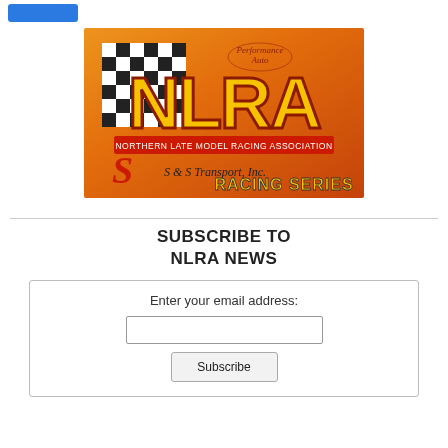[Figure (logo): NLRA Northern Late Model Racing Association S&S Transport Inc. Racing Series logo on orange/red/yellow background with checkered flag pattern]
SUBSCRIBE TO NLRA NEWS
Enter your email address: